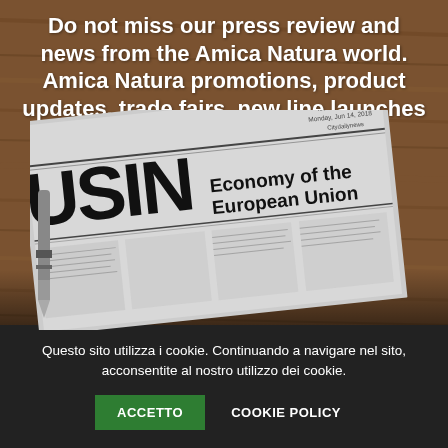[Figure (photo): Photo of a newspaper titled 'Economy of the European Union' (BUSINESS section) with a pen on a wooden table background. A white rounded READ button overlays the center of the image.]
Do not miss our press review and news from the Amica Natura world. Amica Natura promotions, product updates, trade fairs, new line launches and much more
READ
Questo sito utilizza i cookie. Continuando a navigare nel sito, acconsentite al nostro utilizzo dei cookie.
ACCETTO
COOKIE POLICY